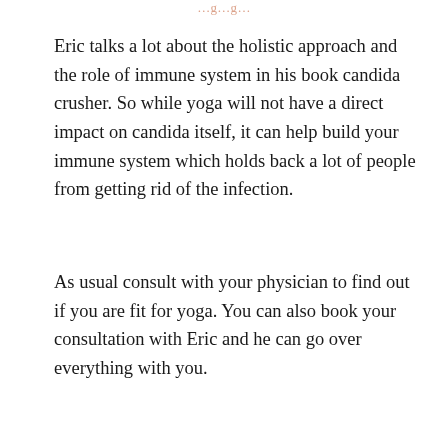…g…g…
Eric talks a lot about the holistic approach and the role of immune system in his book candida crusher. So while yoga will not have a direct impact on candida itself, it can help build your immune system which holds back a lot of people from getting rid of the infection.
As usual consult with your physician to find out if you are fit for yoga. You can also book your consultation with Eric and he can go over everything with you.